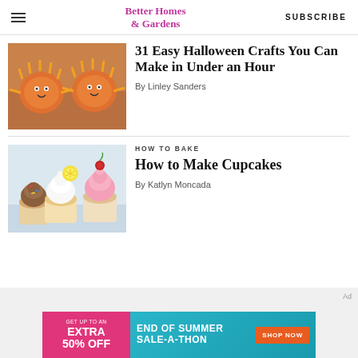Better Homes & Gardens | SUBSCRIBE
[Figure (photo): Halloween crafts - orange pumpkins decorated with candy corn spikes on a wooden surface]
31 Easy Halloween Crafts You Can Make in Under an Hour
By Linley Sanders
HOW TO BAKE
[Figure (photo): Three decorated cupcakes - white frosted, pink frosted with cherry, and chocolate frosted with sprinkles]
How to Make Cupcakes
By Katlyn Moncada
[Figure (infographic): Advertisement banner: GET UP TO AN EXTRA 50% OFF | END OF SUMMER SALE-A-THON | SHOP NOW button]